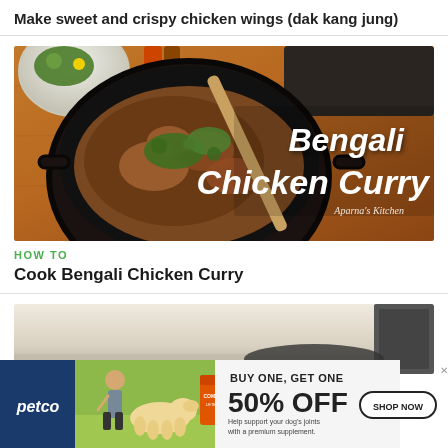Make sweet and crispy chicken wings (dak kang jung)
[Figure (photo): Thumbnail image showing Bengali Chicken Curry in a black pot with herbs, wooden spoon, and text overlay reading 'Bengali Chicken Curry' with 'Aparna's Kitchen' watermark]
HOW TO
Cook Bengali Chicken Curry
[Figure (photo): Partial thumbnail of another cooking video showing kitchen scene]
[Figure (photo): Petco advertisement banner: BUY ONE, GET ONE 50% OFF - Help support your dog's joints with a premium supplement. SHOP NOW button. Shows woman with dog and supplement product.]